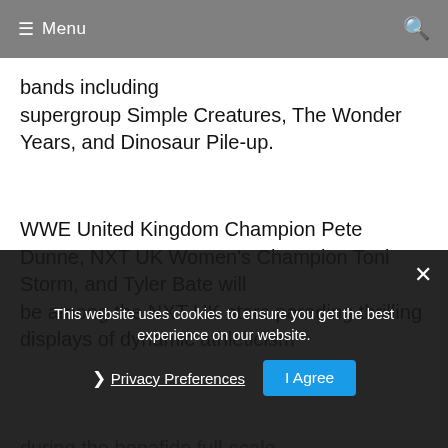≡ Menu
bands including supergroup Simple Creatures, The Wonder Years, and Dinosaur Pile-up.
WWE United Kingdom Champion Pete Dunne, NXT UK Women's Champion Toni Storm, and Tyler Bate will be among the NXT UK stars parading thrilling displays of dynamic athleticism during the bonafide full-scale ring bouts. The NXT UK Championship for the first time ever will be taped and aired as part of the weekly NXT UK show on the WWE Network. Superstars Trent Seven, Walter, Rhea Ripley, Jordan Devlin, NXT UK
This website uses cookies to ensure you get the best experience on our website.
Privacy Preferences
I Agree